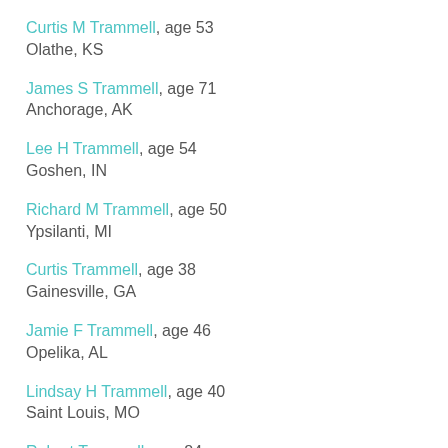Curtis M Trammell, age 53
Olathe, KS
James S Trammell, age 71
Anchorage, AK
Lee H Trammell, age 54
Goshen, IN
Richard M Trammell, age 50
Ypsilanti, MI
Curtis Trammell, age 38
Gainesville, GA
Jamie F Trammell, age 46
Opelika, AL
Lindsay H Trammell, age 40
Saint Louis, MO
Robert Trammell, age 84